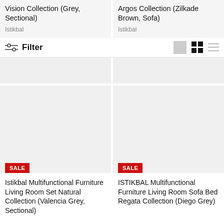Vision Collection (Grey, Sectional)
Istikbal
Argos Collection (Zilkade Brown, Sofa)
Istikbal
Filter
[Figure (screenshot): Empty grey placeholder image top-left]
[Figure (screenshot): Empty grey placeholder image top-right]
[Figure (screenshot): Product card image placeholder with SALE badge - Istikbal Multifunctional Furniture Living Room Set Natural Collection (Valencia Grey, Sectional)]
SALE
Istikbal Multifunctional Furniture Living Room Set Natural Collection (Valencia Grey, Sectional)
[Figure (screenshot): Product card image placeholder with SALE badge - ISTIKBAL Multifunctional Furniture Living Room Sofa Bed Regata Collection (Diego Grey)]
SALE
ISTIKBAL Multifunctional Furniture Living Room Sofa Bed Regata Collection (Diego Grey)